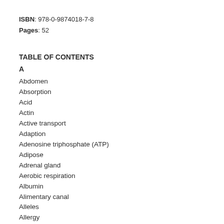ISBN: 978-0-9874018-7-8
Pages: 52
TABLE OF CONTENTS
A
Abdomen
Absorption
Acid
Actin
Active transport
Adaption
Adenosine triphosphate (ATP)
Adipose
Adrenal gland
Aerobic respiration
Albumin
Alimentary canal
Alleles
Allergy
Alveoli